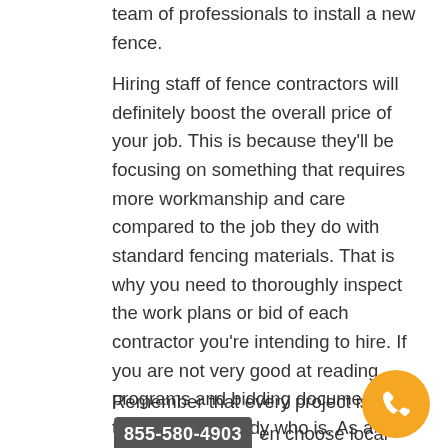team of professionals to install a new fence.
Hiring staff of fence contractors will definitely boost the overall price of your job. This is because they'll be focusing on something that requires more workmanship and care compared to the job they do with standard fencing materials. That is why you need to thoroughly inspect the work plans or bid of each contractor you're intending to hire. If you are not very good at reading programs and bidding documents, then get somebody who is. As a guideline, the lowest bid must be the one that gets the contract. However, even if you think the maximum bid is the very best, do not go below that price.
Remember that every project is 855-580-4903 en choose local fence contractors, you should be aware